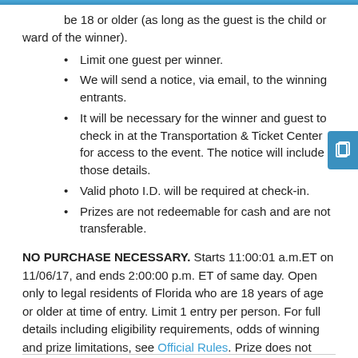Florida. However, guests of the winners do not need to be 18 or older (as long as the guest is the child or ward of the winner).
Limit one guest per winner.
We will send a notice, via email, to the winning entrants.
It will be necessary for the winner and guest to check in at the Transportation & Ticket Center for access to the event. The notice will include those details.
Valid photo I.D. will be required at check-in.
Prizes are not redeemable for cash and are not transferable.
NO PURCHASE NECESSARY. Starts 11:00:01 a.m.ET on 11/06/17, and ends 2:00:00 p.m. ET of same day. Open only to legal residents of Florida who are 18 years of age or older at time of entry. Limit 1 entry per person. For full details including eligibility requirements, odds of winning and prize limitations, see Official Rules. Prize does not include accommodations or transportation between winner's home and the event taking place on November 10, 2017. Void where prohibited.